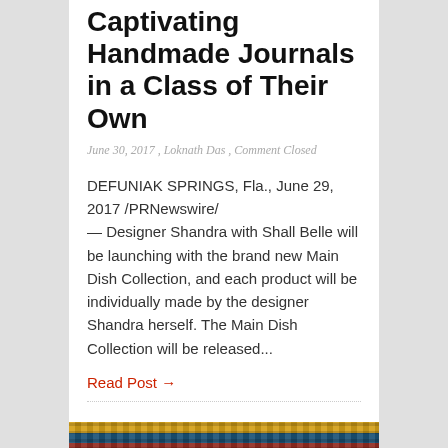Captivating Handmade Journals in a Class of Their Own
June 30, 2017 , Loknath Das , Comment Closed
DEFUNIAK SPRINGS, Fla., June 29, 2017 /PRNewswire/ — Designer Shandra with Shall Belle will be launching with the brand new Main Dish Collection, and each product will be individually made by the designer Shandra herself. The Main Dish Collection will be released...
Read Post →
[Figure (photo): Close-up photo of colorful handmade woven textile/journal material with horizontal stripes in yellow, blue, red, green, orange, and purple colors.]